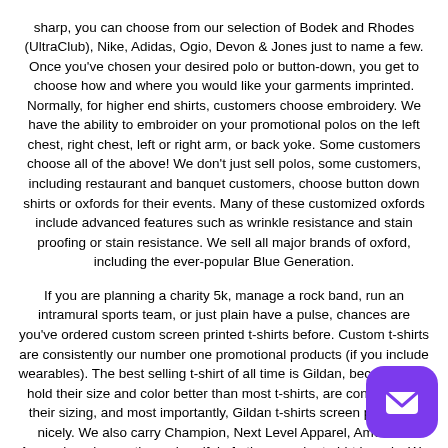sharp, you can choose from our selection of Bodek and Rhodes (UltraClub), Nike, Adidas, Ogio, Devon & Jones just to name a few. Once you've chosen your desired polo or button-down, you get to choose how and where you would like your garments imprinted. Normally, for higher end shirts, customers choose embroidery. We have the ability to embroider on your promotional polos on the left chest, right chest, left or right arm, or back yoke. Some customers choose all of the above! We don't just sell polos, some customers, including restaurant and banquet customers, choose button down shirts or oxfords for their events. Many of these customized oxfords include advanced features such as wrinkle resistance and stain proofing or stain resistance. We sell all major brands of oxford, including the ever-popular Blue Generation.
If you are planning a charity 5k, manage a rock band, run an intramural sports team, or just plain have a pulse, chances are you've ordered custom screen printed t-shirts before. Custom t-shirts are consistently our number one promotional products (if you include wearables). The best selling t-shirt of all time is Gildan, because they hold their size and color better than most t-shirts, are consistent in their sizing, and most importantly, Gildan t-shirts screen print very nicely. We also carry Champion, Next Level Apparel, American Apparel, and more than a handful of other popular t-shirt brands. We don't sell blanks, as we are under contract with many of our suppliers to only sell finished, imprinted merchandise because of the CRAZY low pricing they give us on their products (which we pass on to you)
A lot of your local screen printers, if you've had the pleasure with any, will give you an eye roll or a flat refusal if you request printed with the "distressed" look, order more than a 4 color request metallics or specialty inks. We are prepared to accommodate
[Figure (other): Purple rounded square chat/email button icon in bottom right corner]